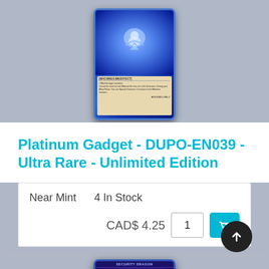[Figure (photo): Yu-Gi-Oh trading card - Platinum Gadget, blue-themed Machine/Link/Effect card, top portion visible]
Platinum Gadget - DUPO-EN039 - Ultra Rare - Unlimited Edition
Near Mint    4 In Stock
CAD$ 4.25   1   [cart button]
[Figure (photo): Yu-Gi-Oh trading card - Security Dragon, dark blue/purple Cyberse/Link/Effect card with dragon artwork]